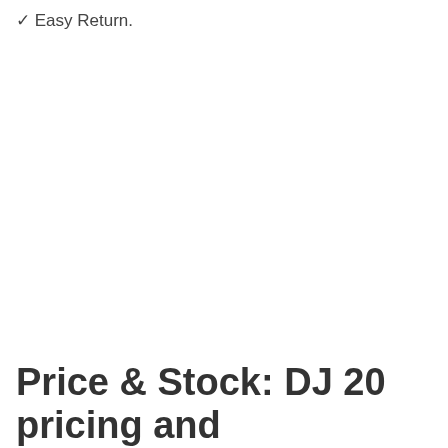✓ Easy Return.
Price & Stock: DJ 20 pricing and